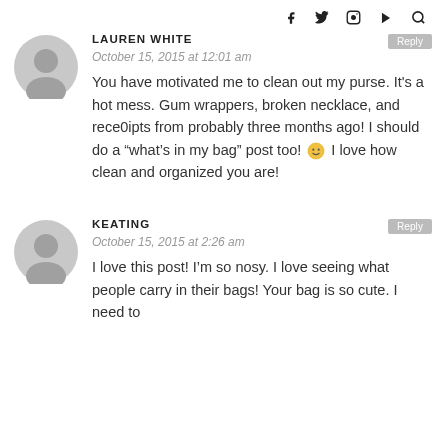Social media icons: Facebook, Twitter, Instagram, YouTube, Search
LAUREN WHITE
October 15, 2015 at 12:01 am
You have motivated me to clean out my purse. It's a hot mess. Gum wrappers, broken necklace, and rece0ipts from probably three months ago! I should do a "what's in my bag" post too! 🙂 I love how clean and organized you are!
KEATING
October 15, 2015 at 2:26 am
I love this post! I'm so nosy. I love seeing what people carry in their bags! Your bag is so cute. I need to